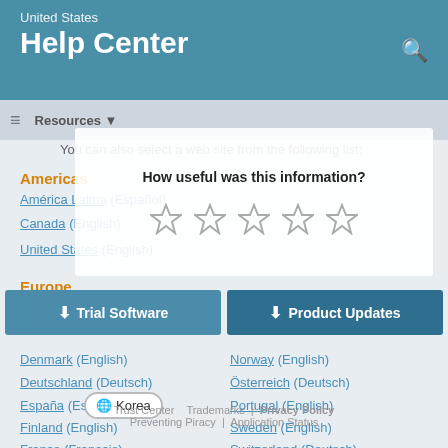United States
Help Center
Resources ▼
You can also select a web site from the following list:
Americas
América Latina (Español)
Canada (English)
United States (English)
Europe
[Figure (other): Rating dialog overlay asking 'How useful was this information?' with 5 empty star icons]
Trial Software | Product Updates (buttons)
Belgium (English)
Netherlands (English)
Denmark (English)
Norway (English)
Deutschland (Deutsch)
Österreich (Deutsch)
España (Español)
Portugal (English)
Finland (English)
Sweden (English)
Korea
Trust Center   Trademarks | Privacy Policy
Preventing Piracy | Application Status